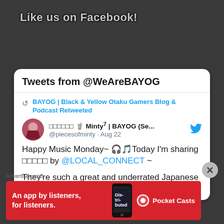Like us on Facebook!
[Figure (screenshot): Twitter widget showing 'Tweets from @WeAreBAYOG'. Contains a retweet by BAYOG | Black & Yellow Otaku Gamers Blog & Podcast. Original tweet by ミントミン 🧋 Minty⁷ | BAYOG (Se... @piecesofminty · Aug 22. Tweet text: Happy Music Monday~ 🎧🎵Today I'm sharing □□□□□ by @LOCAL_CONNECT ~

They're such a great and underrated Japanese band so I hope y'all can check]
Advertisements
[Figure (infographic): Red advertisement banner for Pocket Casts app. Text: 'An app by listeners, for listeners.' with Pocket Casts logo and phone image showing 'Distributed' text.]